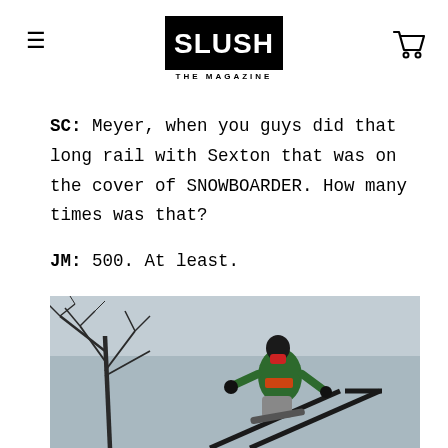SLUSH THE MAGAZINE
SC: Meyer, when you guys did that long rail with Sexton that was on the cover of SNOWBOARDER. How many times was that?
JM: 500. At least.
[Figure (photo): Snowboarder performing a trick on a rail outdoors against a grey-blue sky with bare tree branches visible in the background]